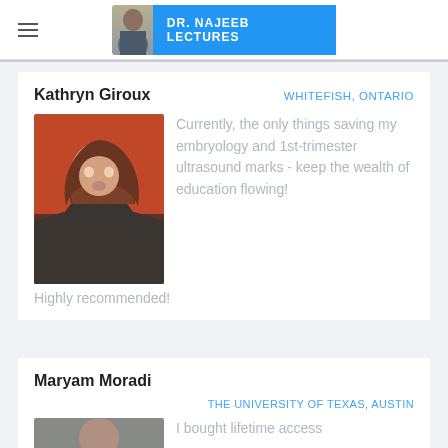DR. NAJEEB LECTURES
Kathryn Giroux — WHITEFISH, ONTARIO — Currently, the only things saving my embryology and 1st-trimester ultrasound marks - keep the wealth of education flowing! Highly recommended!
[Figure (photo): Profile photo of Kathryn Giroux, a young woman with long auburn hair against a red background]
Maryam Moradi — THE UNIVERSITY OF TEXAS, AUSTIN — I bought lifetime access